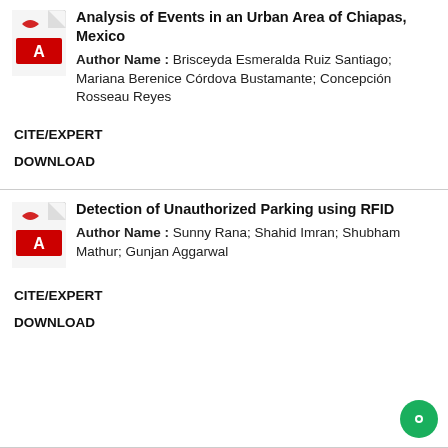Analysis of Events in an Urban Area of Chiapas, Mexico
Author Name : Brisceyda Esmeralda Ruiz Santiago; Mariana Berenice Córdova Bustamante; Concepción Rosseau Reyes
CITE/EXPERT
DOWNLOAD
Detection of Unauthorized Parking using RFID
Author Name : Sunny Rana; Shahid Imran; Shubham Mathur; Gunjan Aggarwal
CITE/EXPERT
DOWNLOAD